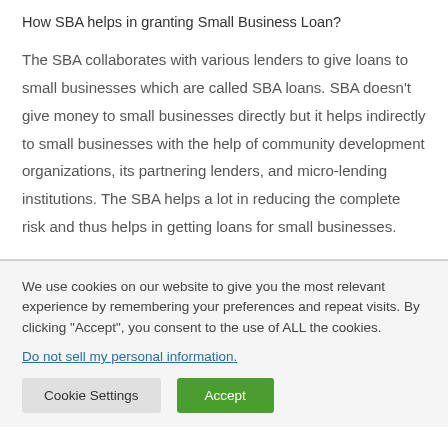How SBA helps in granting Small Business Loan?
The SBA collaborates with various lenders to give loans to small businesses which are called SBA loans. SBA doesn't give money to small businesses directly but it helps indirectly to small businesses with the help of community development organizations, its partnering lenders, and micro-lending institutions. The SBA helps a lot in reducing the complete risk and thus helps in getting loans for small businesses.
We use cookies on our website to give you the most relevant experience by remembering your preferences and repeat visits. By clicking "Accept", you consent to the use of ALL the cookies.
Do not sell my personal information.